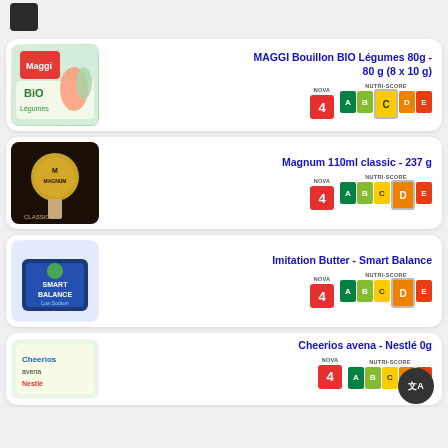[Figure (photo): Small dark product thumbnail at top]
[Figure (photo): MAGGI Bouillon BIO Légumes product image]
MAGGI Bouillon BIO Légumes 80g - 80 g (8 x 10 g)
[Figure (infographic): NOVA 4 red badge and Nutri-Score A-B-C-D-E with C highlighted]
[Figure (photo): Magnum 110ml classic product image]
Magnum 110ml classic - 237 g
[Figure (infographic): NOVA 4 red badge and Nutri-Score A-B-C-D-E with D highlighted]
[Figure (photo): Imitation Butter Smart Balance product image]
Imitation Butter - Smart Balance
[Figure (infographic): NOVA 4 red badge and Nutri-Score A-B-C-D-E with D highlighted]
[Figure (photo): Cheerios avena Nestle product image (partial)]
Cheerios avena - Nestlé 0g